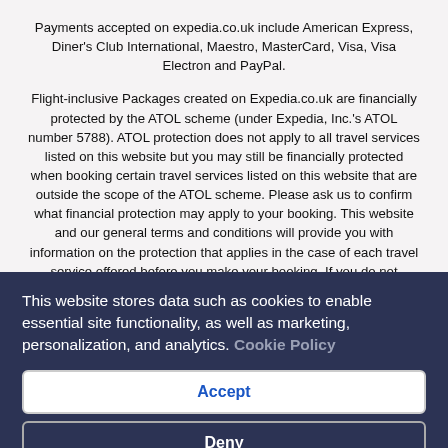Payments accepted on expedia.co.uk include American Express, Diner's Club International, Maestro, MasterCard, Visa, Visa Electron and PayPal.
Flight-inclusive Packages created on Expedia.co.uk are financially protected by the ATOL scheme (under Expedia, Inc.'s ATOL number 5788). ATOL protection does not apply to all travel services listed on this website but you may still be financially protected when booking certain travel services listed on this website that are outside the scope of the ATOL scheme. Please ask us to confirm what financial protection may apply to your booking. This website and our general terms and conditions will provide you with information on the protection that applies in the case of each travel service offered before you make your booking. If you do not receive an ATOL Certificate then the booking will not be ATOL protected. If you do receive an ATOL Certificate but all the parts of your trip are not listed on it, those parts will not be ATOL
This website stores data such as cookies to enable essential site functionality, as well as marketing, personalization, and analytics. Cookie Policy
Accept
Deny